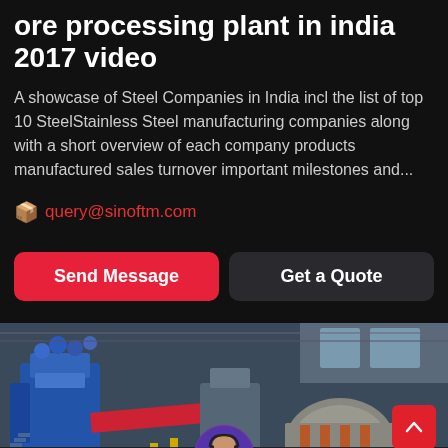ore processing plant in india 2017 video
A showcase of Steel Companies in India incl the list of top 10 SteelStainless Steel manufacturing companies along with a short overview of each company products manufactured sales turnover important milestones and...
query@sinoftm.com
Send Message
Get a Quote
[Figure (photo): Industrial ore processing plant interior showing large blue machinery, conveyors, and processing equipment in a factory setting.]
Leave Message
Chat Online